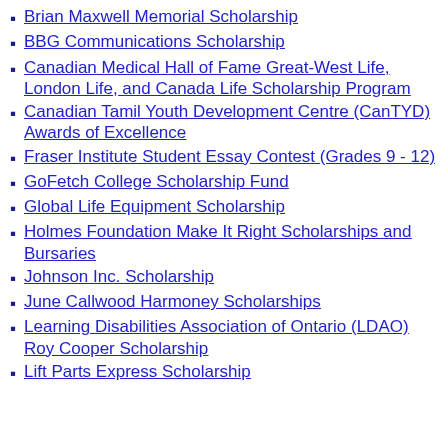Brian Maxwell Memorial Scholarship
BBG Communications Scholarship
Canadian Medical Hall of Fame Great-West Life, London Life, and Canada Life Scholarship Program
Canadian Tamil Youth Development Centre (CanTYD) Awards of Excellence
Fraser Institute Student Essay Contest (Grades 9 - 12)
GoFetch College Scholarship Fund
Global Life Equipment Scholarship
Holmes Foundation Make It Right Scholarships and Bursaries
Johnson Inc. Scholarship
June Callwood Harmoney Scholarships
Learning Disabilities Association of Ontario (LDAO) Roy Cooper Scholarship
Lift Parts Express Scholarship